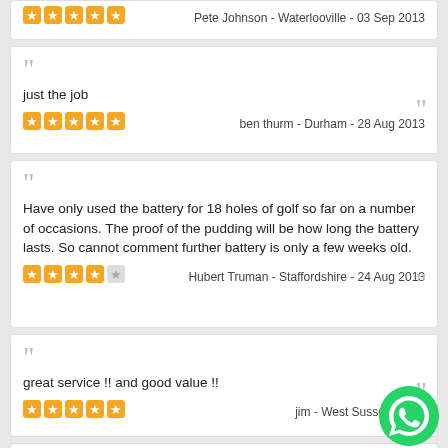Pete Johnson - Waterlooville - 03 Sep 2013
just the job
ben thurm - Durham - 28 Aug 2013
Have only used the battery for 18 holes of golf so far on a number of occasions. The proof of the pudding will be how long the battery lasts. So cannot comment further battery is only a few weeks old.
Hubert Truman - Staffordshire - 24 Aug 2013
great service !! and good value !!
jim - West Sussex - 013
This battery fits the job perfectly.